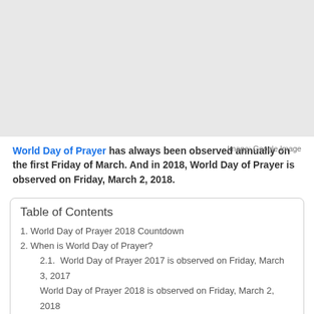[Figure (photo): Top image area, appears to be a placeholder or image related to World Day of Prayer (Google Image).]
World Day of Prayer has always been observed annually on the first Friday of March. And in 2018, World Day of Prayer is observed on Friday, March 2, 2018.
Image: Google Image
Table of Contents
1. World Day of Prayer 2018 Countdown
2. When is World Day of Prayer?
2.1.  World Day of Prayer 2017 is observed on Friday, March 3, 2017
World Day of Prayer 2018 is observed on Friday, March 2, 2018
World Day of Prayer 2019 is observed on Friday, March 1, 2019
World Day of Prayer 2020 is observed on Friday, March 6, 2020 (partially visible)